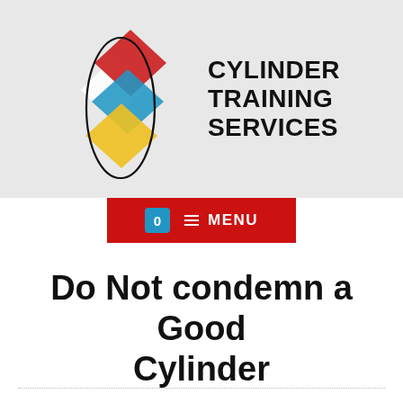[Figure (logo): Cylinder Training Services logo: overlapping red, blue, yellow diamond shapes with a black ellipse outline, beside bold text 'CYLINDER TRAINING SERVICES']
[Figure (screenshot): Red navigation menu bar with a blue badge showing '0' and hamburger menu icon labeled 'MENU']
Do Not condemn a Good Cylinder